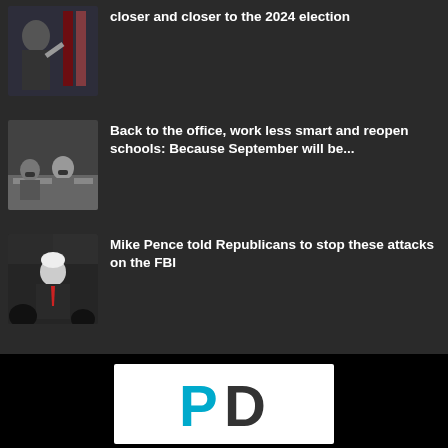After Cheney's defeat, Trump is getting closer and closer to the 2024 election
[Figure (photo): Photo of Trump at a rally with flags in background]
Back to the office, work less smart and reopen schools: Because September will be...
[Figure (photo): Photo of people working in an office with masks]
Mike Pence told Republicans to stop these attacks on the FBI
[Figure (photo): Photo of Mike Pence speaking at a podium]
[Figure (logo): PD logo in white box - P in cyan/blue, D in dark gray]